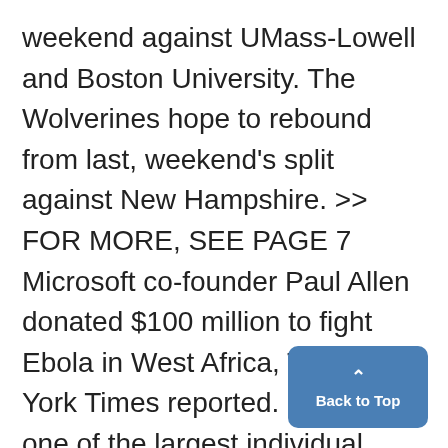weekend against UMass-Lowell and Boston University. The Wolverines hope to rebound from last, weekend's split against New Hampshire. >> FOR MORE, SEE PAGE 7 Microsoft co-founder Paul Allen donated $100 million to fight Ebola in West Africa, The New York Times reported. He is now one of the largest individual donors to the cause. The Bill Gates foundation will also
Back to Top